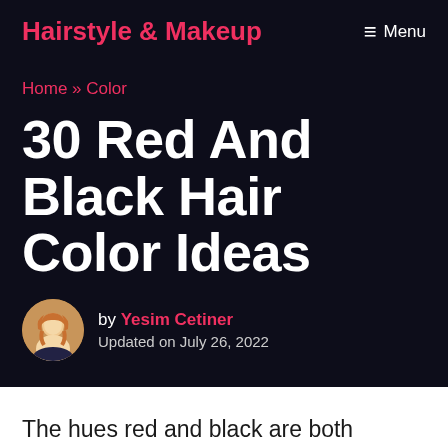Hairstyle & Makeup
Home » Color
30 Red And Black Hair Color Ideas
by Yesim Cetiner
Updated on July 26, 2022
The hues red and black are both excellent and elegant hair colors. If you're confused between the...